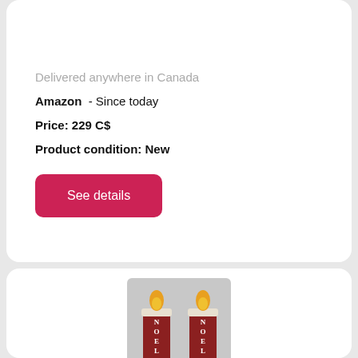Delivered anywhere in Canada
Amazon  - Since today
Price: 229 C$
Product condition: New
See details
[Figure (photo): Two red NOEL Christmas candles with yellow flames and white wax drips, displayed side by side]